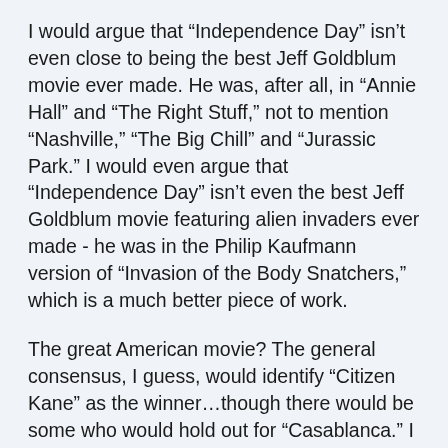I would argue that “Independence Day” isn’t even close to being the best Jeff Goldblum movie ever made. He was, after all, in “Annie Hall” and “The Right Stuff,” not to mention “Nashville,” “The Big Chill” and “Jurassic Park.” I would even argue that “Independence Day” isn’t even the best Jeff Goldblum movie featuring alien invaders ever made - he was in the Philip Kaufmann version of “Invasion of the Body Snatchers,” which is a much better piece of work.
The great American movie? The general consensus, I guess, would identify “Citizen Kane” as the winner…though there would be some who would hold out for “Casablanca.” I probably would side with the group that believes “The Godfather” and “The Godfather Part II” represent the best work of a single American filmmaker. There’s lots of room for debate … but I worry about the fact that the guy who once was responsible